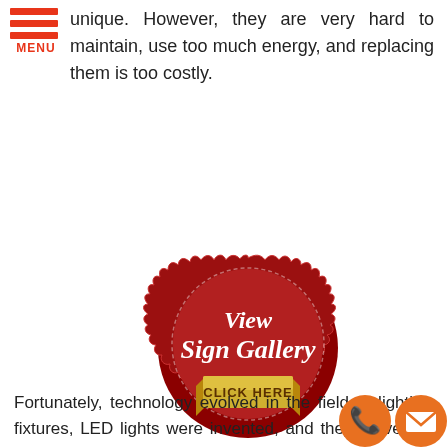[Figure (logo): Red hamburger menu icon with three horizontal lines and MENU text below]
unique. However, they are very hard to maintain, use too much energy, and replacing them is too costly.
[Figure (illustration): Red badge/seal shaped button with scalloped edges reading 'View Sign Gallery' in white script text, with a gold ribbon banner below reading 'CLICK HERE']
Fortunately, technology evolved in the field of lighting fixtures, LED lights were invented, and they proved to be as eye-catching as li... but more affordable to use and maintain. Yo...
[Figure (illustration): Phone icon (orange circular button with white phone handset) and email icon (orange circular button with white envelope) in bottom right corner]